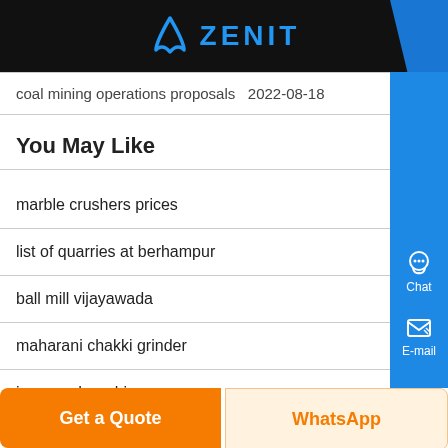ZENIT
coal mining operations proposals  2022-08-18
You May Like
marble crushers prices
list of quarries at berhampur
ball mill vijayawada
maharani chakki grinder
iron sand washin